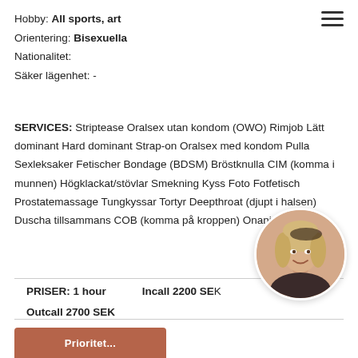Hobby: All sports, art
Orientering: Bisexuella
Nationalitet:
Säker lägenhet: -
SERVICES: Striptease Oralsex utan kondom (OWO) Rimjob Lätt dominant Hard dominant Strap-on Oralsex med kondom Pulla Sexleksaker Fetischer Bondage (BDSM) Bröstknulla CIM (komma i munnen) Högklackat/stövlar Smekning Kyss Foto Fotfetisch Prostatemassage Tungkyssar Tortyr Deepthroat (djupt i halsen) Duscha tillsammans COB (komma på kroppen) Onani
[Figure (photo): Circular portrait photo of a woman with blonde wavy hair, wearing a dark top, smiling]
PRISER: 1 hour   Incall 2200 SEK
Outcall 2700 SEK